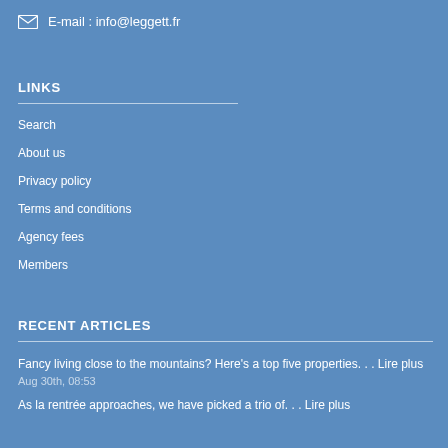E-mail : info@leggett.fr
LINKS
Search
About us
Privacy policy
Terms and conditions
Agency fees
Members
RECENT ARTICLES
Fancy living close to the mountains? Here's a top five properties. . . Lire plus
Aug 30th, 08:53
As la rentrée approaches, we have picked a trio of. . . Lire plus